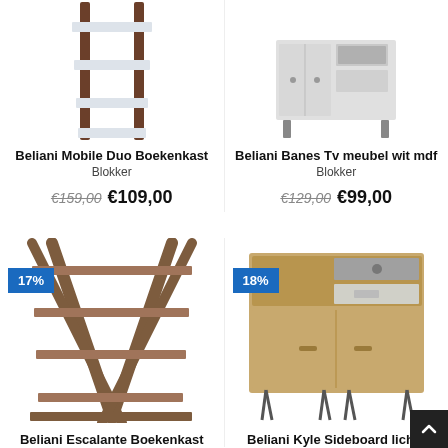[Figure (photo): Beliani Mobile Duo Boekenkast product image - ladder bookcase in dark brown wood with white shelves]
Beliani Mobile Duo Boekenkast
Blokker
€159,00 €109,00
[Figure (photo): Beliani Banes Tv meubel wit mdf product image (partially visible)]
Beliani Banes Tv meubel wit mdf
Blokker
€129,00 €99,00
[Figure (photo): Beliani Escalante Boekenkast - dark brown X-frame bookcase with multiple shelves, 17% discount badge]
17%
Beliani Escalante Boekenkast
[Figure (photo): Beliani Kyle Sideboard lichte - light oak sideboard with drawers and doors on hairpin legs, 18% discount badge]
18%
Beliani Kyle Sideboard lichte